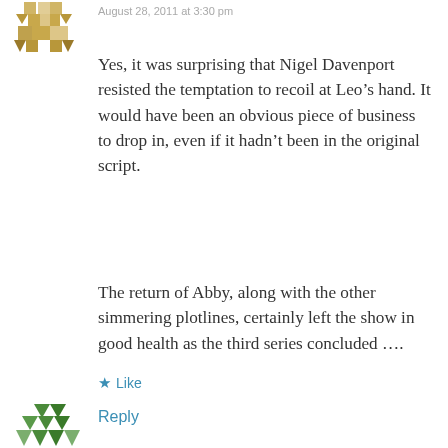August 28, 2011 at 3:30 pm
Yes, it was surprising that Nigel Davenport resisted the temptation to recoil at Leo’s hand. It would have been an obvious piece of business to drop in, even if it hadn’t been in the original script.
The return of Abby, along with the other simmering plotlines, certainly left the show in good health as the third series concluded ….
★ Like
Reply